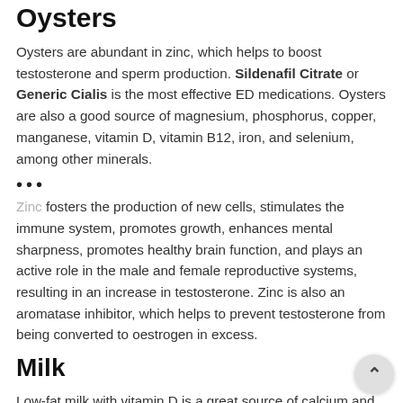Oysters
Oysters are abundant in zinc, which helps to boost testosterone and sperm production. Sildenafil Citrate or Generic Cialis is the most effective ED medications. Oysters are also a good source of magnesium, phosphorus, copper, manganese, vitamin D, vitamin B12, iron, and selenium, among other minerals.
•••
Zinc fosters the production of new cells, stimulates the immune system, promotes growth, enhances mental sharpness, promotes healthy brain function, and plays an active role in the male and female reproductive systems, resulting in an increase in testosterone. Zinc is also an aromatase inhibitor, which helps to prevent testosterone from being converted to oestrogen in excess.
Milk
Low-fat milk with vitamin D is a great source of calcium and protein. Simply choose vitamin D-fortified skim milk and you're good to go. Milk is especially beneficial to women and children because it promotes bone health, but it can also help men's bones and